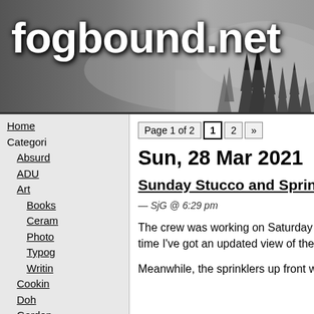fogbound.net
[Figure (photo): Foggy forest silhouette in grayscale forming the header background]
Home
Categories
Absurd
ADU
Art
Books
Ceramics
Photo
Typography
Writing
Cooking
Doh
Garden
General
Grim Vision
Links
MicroFi
Page 1 of 2  1  2  »
Sun, 28 Mar 2021
Sunday Stucco and Sprinklers
— SjG @ 6:29 pm
The crew was working on Saturday too, so today's the first time I've got an updated view of the stucco.
Meanwhile, the sprinklers up front were not working
More...
Who Am I?
1969 Communic
Coding Projects
Photography
Tweets
Typography
Crow Cut Card Designs
Other Photography
The Legacy